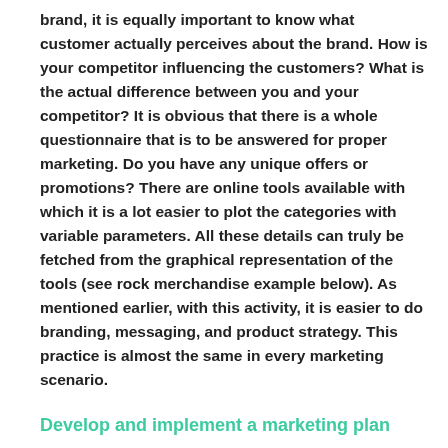brand, it is equally important to know what customer actually perceives about the brand. How is your competitor influencing the customers? What is the actual difference between you and your competitor? It is obvious that there is a whole questionnaire that is to be answered for proper marketing. Do you have any unique offers or promotions? There are online tools available with which it is a lot easier to plot the categories with variable parameters. All these details can truly be fetched from the graphical representation of the tools (see rock merchandise example below). As mentioned earlier, with this activity, it is easier to do branding, messaging, and product strategy. This practice is almost the same in every marketing scenario.
Develop and implement a marketing plan